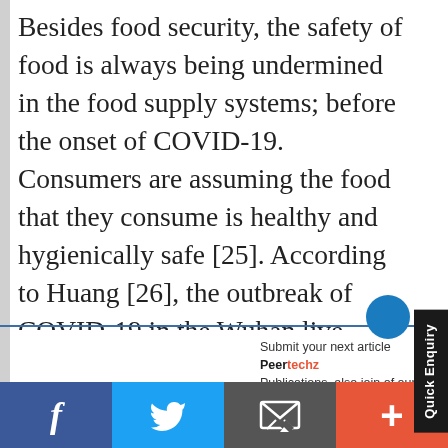Besides food security, the safety of food is always being undermined in the food supply systems; before the onset of COVID-19. Consumers are assuming the food that they consume is healthy and hygienically safe [25]. According to Huang [26], the outbreak of COVID-19 in the Wuhan live animal market and later on the second wave of COVID-19 outbreak in China that was closely related to contaminated salmon created
Submit your next article Peertechz Publications, also join of our fulfilled creators. Submit a Manuscript
[Figure (other): Social media share bar with Facebook (blue), Twitter (light blue), Email (gray), and Plus/share (orange-red) buttons]